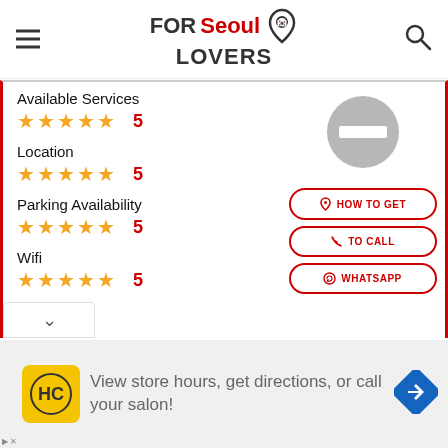FOR Seoul LOVERS
Available Services
★★★★★ 5
Location
★★★★★ 5
Parking Availability
★★★★★ 5
Wifi
★★★★★ 5
HOW TO GET
TO CALL
WHATSAPP
View store hours, get directions, or call your salon!